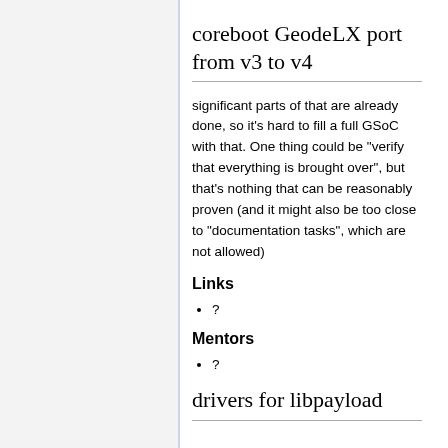coreboot GeodeLX port from v3 to v4
significant parts of that are already done, so it's hard to fill a full GSoC with that. One thing could be "verify that everything is brought over", but that's nothing that can be reasonably proven (and it might also be too close to "documentation tasks", which are not allowed)
Links
?
Mentors
?
drivers for libpayload